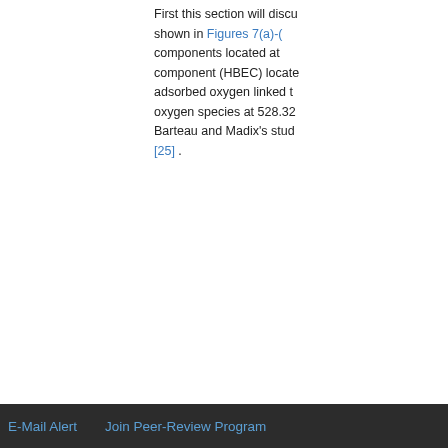First this section will discuss... shown in Figures 7(a)-(... components located at ... component (HBEC) located... adsorbed oxygen linked t... oxygen species at 528.32... Barteau and Madix's stud... [25] .
Top
ABSTRACT
Introduction
Experiments
Results and Discussion
Conclusion
Figure 3 further shows th... 160 s and HBEC after 640...
[Figure (continuous-plot): Line chart showing XPS spectra curves at different sputtering intervals, with binding energy on x-axis and intensity on y-axis. Multiple curves offset vertically.]
Figu... sputter... intervals...
E-Mail Alert    Join Peer-Review Program